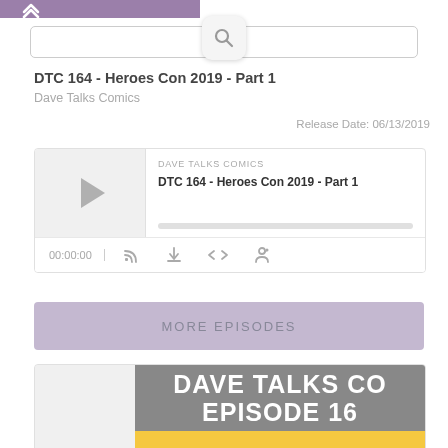[Figure (screenshot): Top purple navigation bar with up/back arrow icon]
[Figure (screenshot): Search bar with magnifying glass icon]
DTC 164 - Heroes Con 2019 - Part 1
Dave Talks Comics
Release Date: 06/13/2019
[Figure (screenshot): Podcast audio player widget showing DAVE TALKS COMICS / DTC 164 - Heroes Con 2019 - Part 1, with play button, progress bar, time 00:00:00, and control icons for subscribe, download, embed, and share]
MORE EPISODES
[Figure (screenshot): Partial podcast episode artwork showing DAVE TALKS CO... EPISODE 16... in white bold text on grey background with yellow strip at bottom containing stylized Heroes Con logo text]